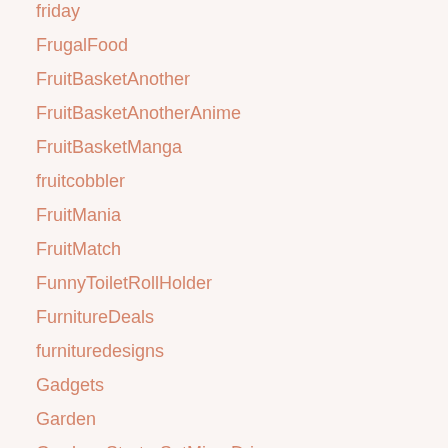friday
FrugalFood
FruitBasketAnother
FruitBasketAnotherAnime
FruitBasketManga
fruitcobbler
FruitMania
FruitMatch
FunnyToiletRollHolder
FurnitureDeals
furnituredesigns
Gadgets
Garden
GardenaStarterSetMicroDrip
GardenToTableEating